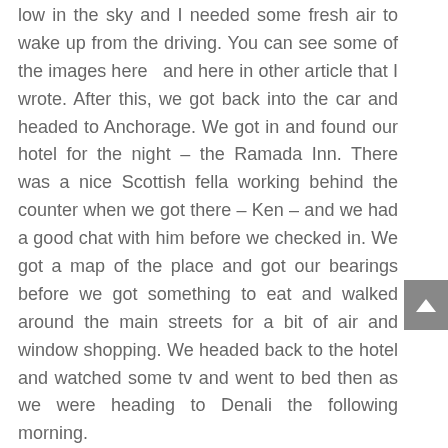low in the sky and I needed some fresh air to wake up from the driving. You can see some of the images here  and here in other article that I wrote. After this, we got back into the car and headed to Anchorage. We got in and found our hotel for the night – the Ramada Inn. There was a nice Scottish fella working behind the counter when we got there – Ken – and we had a good chat with him before we checked in. We got a map of the place and got our bearings before we got something to eat and walked around the main streets for a bit of air and window shopping. We headed back to the hotel and watched some tv and went to bed then as we were heading to Denali the following morning.

Day 20 – We got up early and headed out for a run – there was a bike trail near the